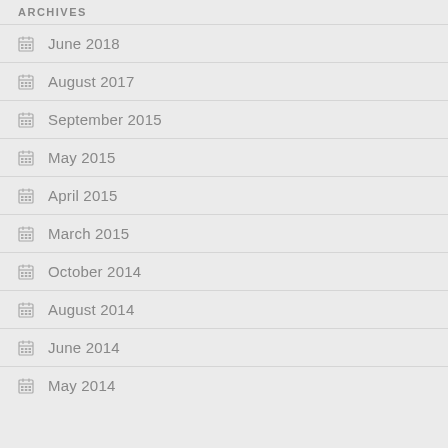ARCHIVES
June 2018
August 2017
September 2015
May 2015
April 2015
March 2015
October 2014
August 2014
June 2014
May 2014